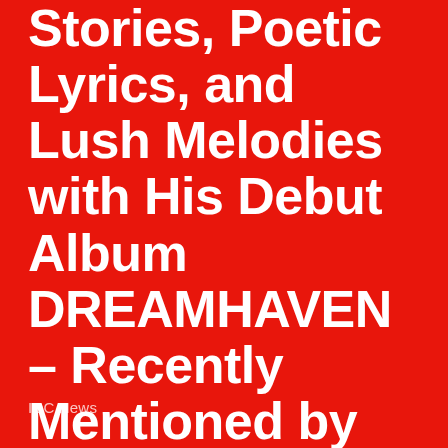Stories, Poetic Lyrics, and Lush Melodies with His Debut Album DREAMHAVEN – Recently Mentioned by Arianna Huffington!
IDC News